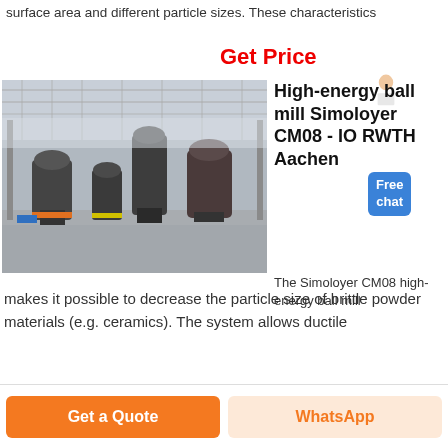surface area and different particle sizes. These characteristics
Get Price
[Figure (photo): Interior of a large industrial factory hall showing several large ball mill machines and grinding equipment on a polished concrete floor, with steel roof structure visible overhead.]
High-energy ball mill Simoloyer CM08 - IO RWTH Aachen
The Simoloyer CM08 high-energy ball mill makes it possible to decrease the particle size of brittle powder materials (e.g. ceramics). The system allows ductile
Get a Quote
WhatsApp